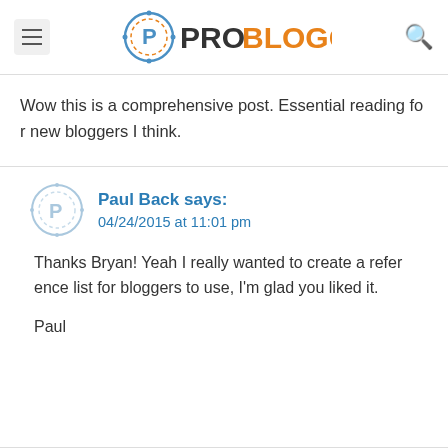ProBlogger
Wow this is a comprehensive post. Essential reading for new bloggers I think.
Paul Back says: 04/24/2015 at 11:01 pm
Thanks Bryan! Yeah I really wanted to create a reference list for bloggers to use, I'm glad you liked it.

Paul
[Figure (logo): ProBlogger logo with circular P icon and orange/dark text]